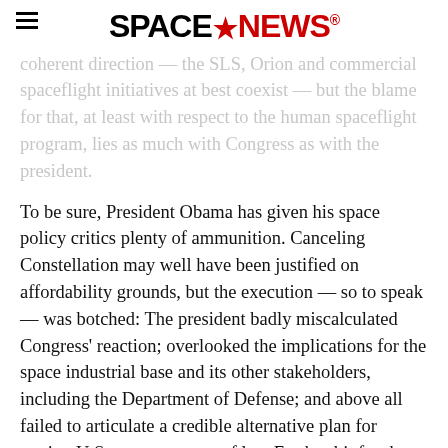SPACENEWS
coherent direction — the SLS, Orion and commercial spaceflight initiatives at best coexist — but the blame for that, at least with respect to the human spaceflight program, lies as much with Congress as with the president.
To be sure, President Obama has given his space policy critics plenty of ammunition. Canceling Constellation may well have been justified on affordability grounds, but the execution — so to speak — was botched: The president badly miscalculated Congress' reaction; overlooked the implications for the space industrial base and its other stakeholders, including the Department of Defense; and above all failed to articulate a credible alternative plan for getting U.S. astronauts out of low Earth orbit for the first time since the Apollo...